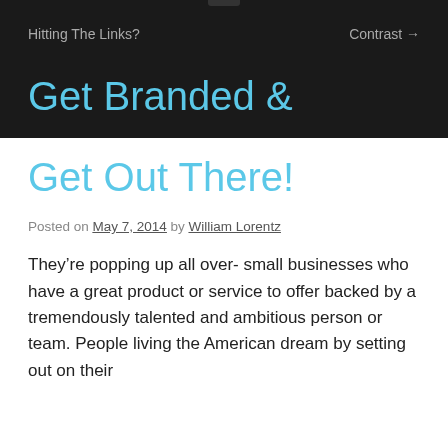Hitting The Links?    Contrast →
Get Branded & Get Out There!
Posted on May 7, 2014 by William Lorentz
They're popping up all over- small businesses who have a great product or service to offer backed by a tremendously talented and ambitious person or team. People living the American dream by setting out on their